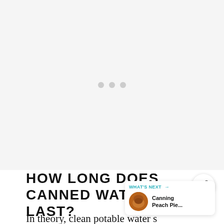[Figure (other): Advertisement placeholder area with three gray dots indicating loading]
HOW LONG DOES CANNED WATER LAST?
In theory, clean potable water stored in canning jars will last for decades.